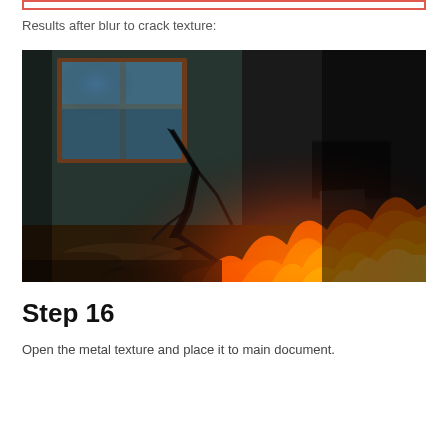[Figure (other): Top border bar with red/salmon outline]
Results after blur to crack texture:
[Figure (photo): A dark, abandoned room with cracked walls, a window showing trees outside with orange/wooden frame, and fire/flames burning across the bottom right of the image. There is also a chair visible on the right side partially submerged in flames.]
Step 16
Open the metal texture and place it to main document.